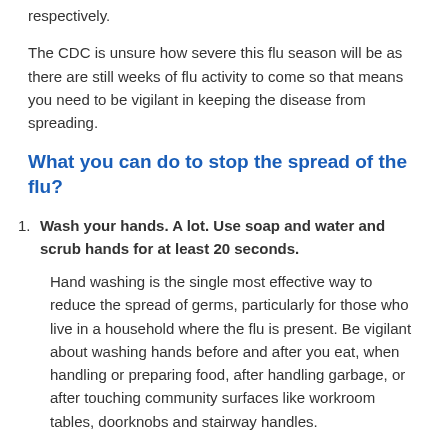respectively.
The CDC is unsure how severe this flu season will be as there are still weeks of flu activity to come so that means you need to be vigilant in keeping the disease from spreading.
What you can do to stop the spread of the flu?
Wash your hands. A lot. Use soap and water and scrub hands for at least 20 seconds.
Hand washing is the single most effective way to reduce the spread of germs, particularly for those who live in a household where the flu is present. Be vigilant about washing hands before and after you eat, when handling or preparing food, after handling garbage, or after touching community surfaces like workroom tables, doorknobs and stairway handles.